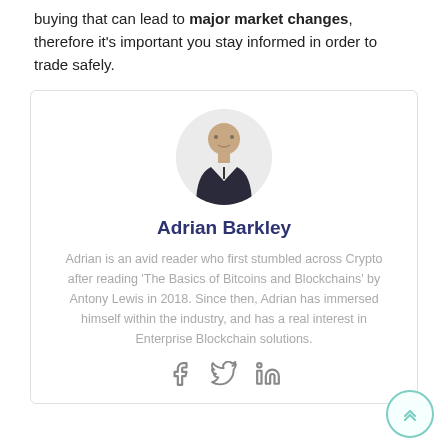buying that can lead to major market changes, therefore it's important you stay informed in order to trade safely.
[Figure (photo): Circular profile photo of a man in a dark suit with arms crossed, smiling, on a light background]
Adrian Barkley
Adrian is an avid reader who first stumbled across Crypto after reading 'The Basics of Bitcoins and Blockchains' by Antony Lewis in 2018. Since then, Adrian has immersed himself within the industry, and has a real interest in Enterprise Blockchain solutions.
[Figure (other): Social media icons: Facebook, Twitter, LinkedIn]